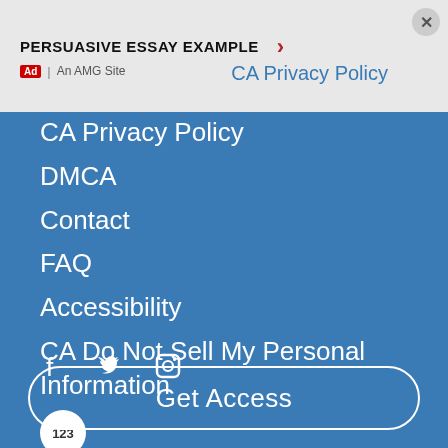[Figure (screenshot): Ad banner with text PERSUASIVE ESSAY EXAMPLE and a close button]
CA Privacy Policy
DMCA
Contact
FAQ
Accessibility
CA Do Not Sell My Personal Information
[Figure (illustration): Social media icons: Facebook, Twitter, Instagram]
[Figure (logo): 123 circular badge/logo]
Get Access